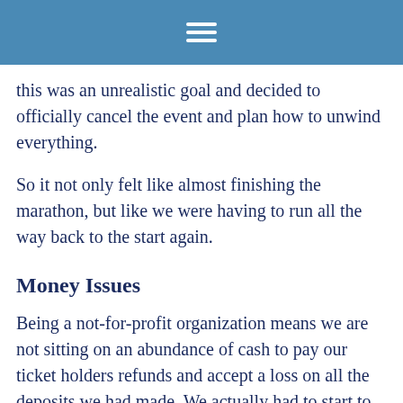this was an unrealistic goal and decided to officially cancel the event and plan how to unwind everything.
So it not only felt like almost finishing the marathon, but like we were having to run all the way back to the start again.
Money Issues
Being a not-for-profit organization means we are not sitting on an abundance of cash to pay our ticket holders refunds and accept a loss on all the deposits we had made. We actually had to start to [of ticket holders] to machine